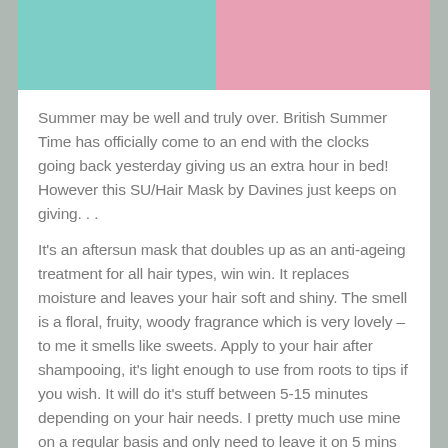[Figure (illustration): Two color blocks side by side: mint/teal green on the left and pink on the right, forming a color swatch bar at the top of the page.]
Summer may be well and truly over. British Summer Time has officially come to an end with the clocks going back yesterday giving us an extra hour in bed! However this SU/Hair Mask by Davines just keeps on giving. . .
It's an aftersun mask that doubles up as an anti-ageing treatment for all hair types, win win. It replaces moisture and leaves your hair soft and shiny. The smell is a floral, fruity, woody fragrance which is very lovely – to me it smells like sweets. Apply to your hair after shampooing, it's light enough to use from roots to tips if you wish. It will do it's stuff between 5-15 minutes depending on your hair needs. I pretty much use mine on a regular basis and only need to leave it on 5 mins in the shower while I cleanse my face and wash my body.